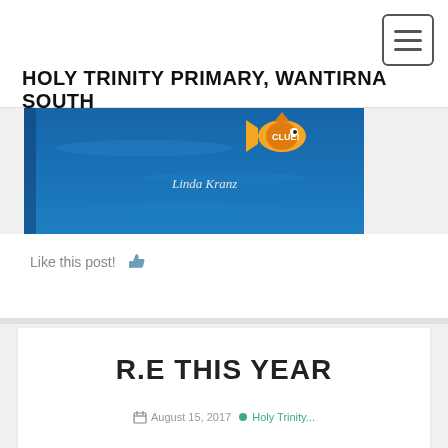HOLY TRINITY PRIMARY, WANTIRNA SOUTH
[Figure (photo): Book cover with blue underwater background showing text 'Linda Kranz' and a colorful fish, partial view of a children's book]
Like this post! 👍
R.E THIS YEAR
August 15, 2017 • Holy Trinity...